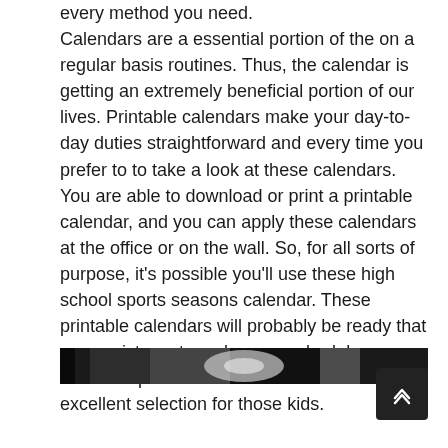every method you need. Calendars are a essential portion of the on a regular basis routines. Thus, the calendar is getting an extremely beneficial portion of our lives. Printable calendars make your day-to-day duties straightforward and every time you prefer to to take a look at these calendars. You are able to download or print a printable calendar, and you can apply these calendars at the office or on the wall. So, for all sorts of purpose, it's possible you'll use these high school sports seasons calendar. These printable calendars will probably be ready that can assist you to make your schedule easy. This cute printable calendar 2019 is an excellent selection for those kids.
[Figure (photo): Dark image strip showing what appears to be a basketball net or sports-related photograph at the bottom of the page.]